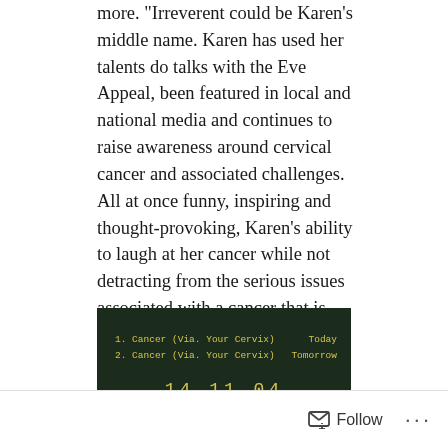more. "Irreverent could be Karen's middle name. Karen has used her talents do talks with the Eve Appeal, been featured in local and national media and continues to raise awareness around cervical cancer and associated challenges. All at once funny, inspiring and thought-provoking, Karen's ability to laugh at her cancer while not detracting from the serious issues associated with a cancer that is largely preventable, and highly responsive to treatment when caught early, is honest, hilarious and nothing short of courageous.
[Figure (photo): A dark-background display board showing '1. Cancer (Via. Your Cervix)' and '2. Cancer (Via. Your Cervix)' with 'Today' and 'Tomorrow' on the right, and '14 11 04' below. Bold yellow text at the bottom reads 'TUMOUR HAS IT'.]
Follow ···